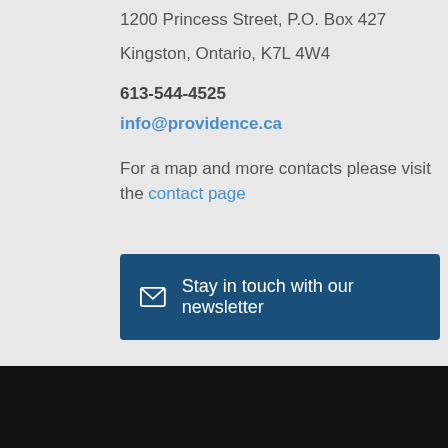1200 Princess Street, P.O. Box 427
Kingston, Ontario, K7L 4W4
613-544-4525
info@providence.ca
For a map and more contacts please visit the contact page
✉ Stay in touch with our newsletter